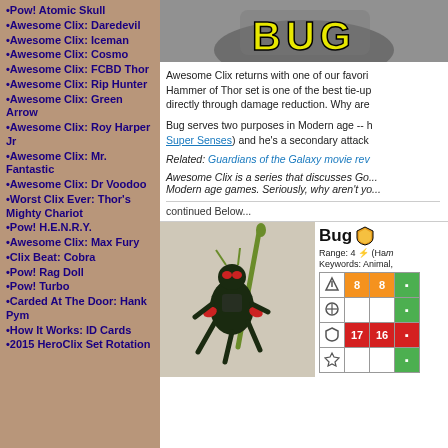•Pow! Atomic Skull
•Awesome Clix: Daredevil
•Awesome Clix: Iceman
•Awesome Clix: Cosmo
•Awesome Clix: FCBD Thor
•Awesome Clix: Rip Hunter
•Awesome Clix: Green Arrow
•Awesome Clix: Roy Harper Jr
•Awesome Clix: Mr. Fantastic
•Awesome Clix: Dr Voodoo
•Worst Clix Ever: Thor's Mighty Chariot
•Pow! H.E.N.R.Y.
•Awesome Clix: Max Fury
•Clix Beat: Cobra
•Pow! Rag Doll
•Pow! Turbo
•Carded At The Door: Hank Pym
•How It Works: ID Cards
•2015 HeroClix Set Rotation
[Figure (photo): Bug HeroClix figure title card showing BUG text in yellow on grey background]
Awesome Clix returns with one of our favorites! Bug from the Hammer of Thor set is one of the best tie-up... directly through damage reduction. Why are...
Bug serves two purposes in Modern age -- he has Super Senses) and he's a secondary attack...
Related: Guardians of the Galaxy movie rev...
Awesome Clix is a series that discusses Go... Modern age games. Seriously, why aren't yo...
continued Below...
[Figure (photo): Bug HeroClix miniature figure in black costume with red accents holding a staff]
| Icon | Stat1 | Stat2 | Stat3 |
| --- | --- | --- | --- |
| movement-icon | 8 | 8 |  |
| attack-icon | 9 | 9 |  |
| defense-icon | 17 | 16 |  |
| damage-icon | 2 | 2 |  |